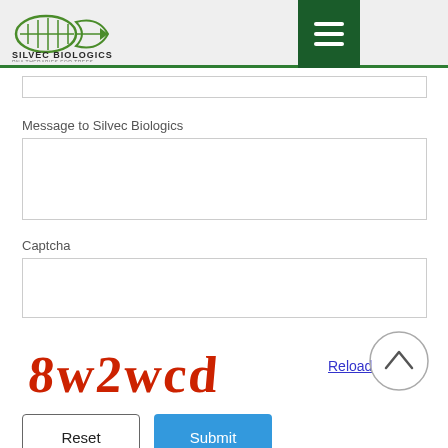[Figure (logo): Silvec Biologics logo with stylized DNA/leaf graphic and text 'SILVEC BIOLOGICS - RNA THERAPIES FOR TREES']
[Figure (screenshot): Hamburger menu button (three white horizontal lines on dark green background)]
Message to Silvec Biologics
Captcha
[Figure (screenshot): CAPTCHA image showing red stylized text '8w2wcd']
Reload
Reset
Submit